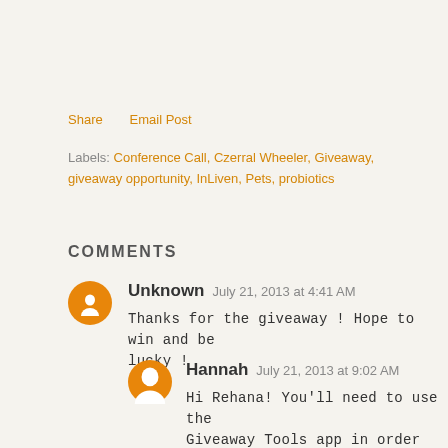Share    Email Post
Labels: Conference Call, Czerral Wheeler, Giveaway, giveaway opportunity, InLiven, Pets, probiotics
COMMENTS
Unknown  July 21, 2013 at 4:41 AM
Thanks for the giveaway ! Hope to win and be lucky !
Hannah  July 21, 2013 at 9:02 AM
Hi Rehana! You'll need to use the Giveaway Tools app in order to enter the giveaway officially.